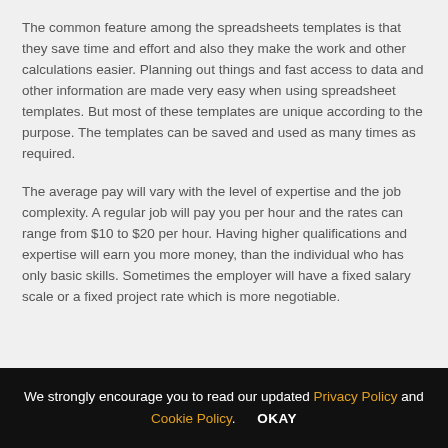The common feature among the spreadsheets templates is that they save time and effort and also they make the work and other calculations easier. Planning out things and fast access to data and other information are made very easy when using spreadsheet templates. But most of these templates are unique according to the purpose. The templates can be saved and used as many times as required.
The average pay will vary with the level of expertise and the job complexity. A regular job will pay you per hour and the rates can range from $10 to $20 per hour. Having higher qualifications and expertise will earn you more money, than the individual who has only basic skills. Sometimes the employer will have a fixed salary scale or a fixed project rate which is more negotiable.
We strongly encourage you to read our updated Privacy Policy and Cookie Policy.    OKAY